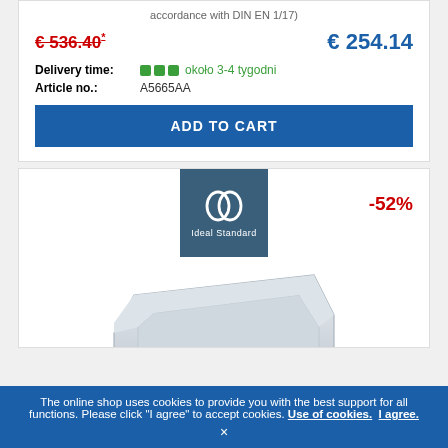accordance with DIN EN 1717)
€ 536.40* (old price, strikethrough red)
€ 254.14 (new price, blue)
Delivery time: ■■■ około 3-4 tygodni
Article no.: A5665AA
ADD TO CART
[Figure (logo): Ideal Standard brand logo – white interlinked circles on dark blue/teal square background with text 'Ideal Standard']
-52%
[Figure (photo): White rectangular built-in bathtub product photo on white background]
The online shop uses cookies to provide you with the best support for all functions. Please click "I agree" to accept cookies. Use of cookies. I agree.